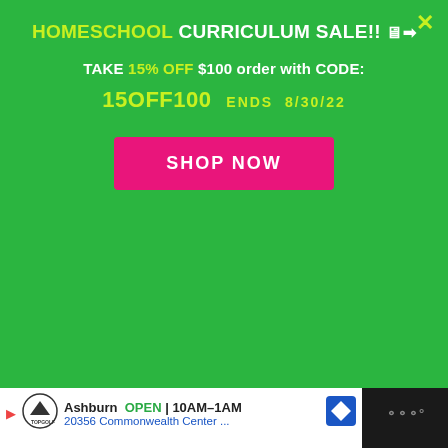[Figure (screenshot): Green popup banner for Homeschool Curriculum Sale with promotional discount code and Shop Now button overlay]
HOMESCHOOL CURRICULUM SALE!!
TAKE 15% OFF $100 order with CODE:
15OFF100   ENDS  8/30/22
SHOP NOW
[Figure (photo): Preschool Mom product box with colorful letters]
Subscribe FREE Today!
WHAT'S NEXT → Preschool Letter...
Ashburn  OPEN | 10AM–1AM  20356 Commonwealth Center ...